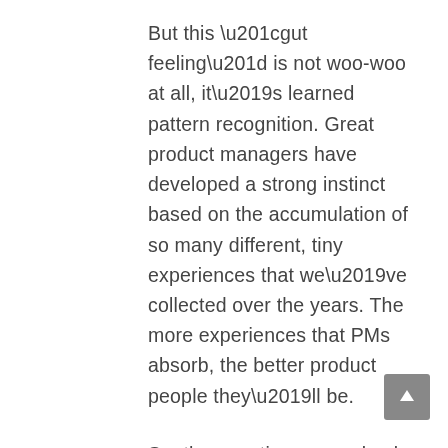But this “gut feeling” is not woo-woo at all, it’s learned pattern recognition. Great product managers have developed a strong instinct based on the accumulation of so many different, tiny experiences that we’ve collected over the years. The more experiences that PMs absorb, the better product people they’ll be.
So, the question comes back to: How can you accumulate more of these experiences? How can you prove you’re developing a PM instinct, when